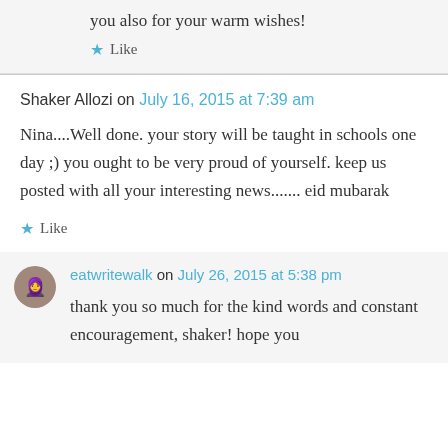you also for your warm wishes!
Like
Shaker Allozi on July 16, 2015 at 7:39 am
Nina....Well done. your story will be taught in schools one day ;) you ought to be very proud of yourself. keep us posted with all your interesting news....... eid mubarak
Like
eatwritewalk on July 26, 2015 at 5:38 pm
thank you so much for the kind words and constant encouragement, shaker! hope you